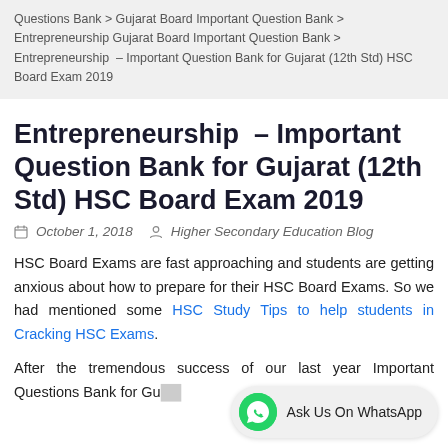Questions Bank > Gujarat Board Important Question Bank > Entrepreneurship Gujarat Board Important Question Bank > Entrepreneurship – Important Question Bank for Gujarat (12th Std) HSC Board Exam 2019
Entrepreneurship – Important Question Bank for Gujarat (12th Std) HSC Board Exam 2019
October 1, 2018   Higher Secondary Education Blog
HSC Board Exams are fast approaching and students are getting anxious about how to prepare for their HSC Board Exams. So we had mentioned some HSC Study Tips to help students in Cracking HSC Exams.
After the tremendous success of our last year Important Questions Bank for Gu...